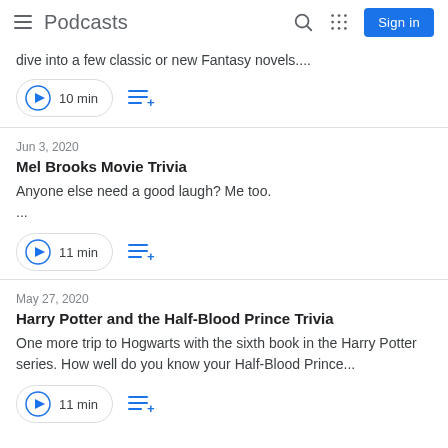Podcasts
dive into a few classic or new Fantasy novels....
10 min
Jun 3, 2020
Mel Brooks Movie Trivia
Anyone else need a good laugh? Me too.
...
11 min
May 27, 2020
Harry Potter and the Half-Blood Prince Trivia
One more trip to Hogwarts with the sixth book in the Harry Potter series. How well do you know your Half-Blood Prince...
11 min